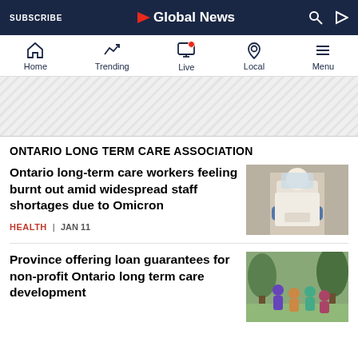SUBSCRIBE | Global News | Search | Play
Home | Trending | Live | Local | Menu
[Figure (other): Advertisement banner area with diagonal stripe pattern]
ONTARIO LONG TERM CARE ASSOCIATION
Ontario long-term care workers feeling burnt out amid widespread staff shortages due to Omicron
HEALTH | JAN 11
[Figure (photo): Healthcare worker in PPE (face shield, gloves, white coat) attending to a patient]
Province offering loan guarantees for non-profit Ontario long term care development
[Figure (photo): Group of people outdoors in medical scrubs and masks near trees]